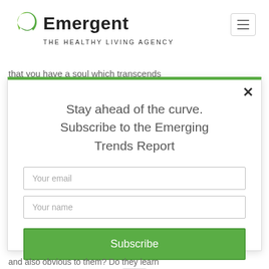Emergent THE HEALTHY LIVING AGENCY
that you have a soul which transcends
[Figure (screenshot): Modal popup with green top border, close button (×), title 'Stay ahead of the curve. Subscribe to the Emerging Trends Report', email input field, name input field, green Subscribe button, and a CAPTCHA icon]
and also obvious to them? Do they learn